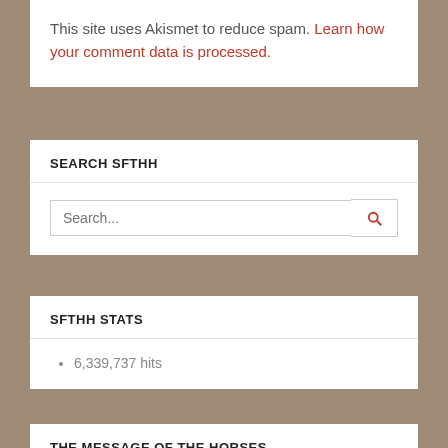This site uses Akismet to reduce spam. Learn how your comment data is processed.
SEARCH SFTHH
SFTHH STATS
6,339,737 hits
THE MESSAGE OF THE HORSES
[Figure (photo): Dark image/video thumbnail at the bottom of the page under 'The Message of the Horses' section]